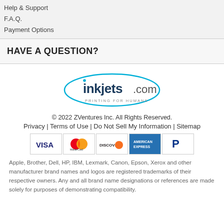Help & Support
F.A.Q.
Payment Options
HAVE A QUESTION?
[Figure (logo): inkjets.com logo with cyan oval ellipse and tagline 'PRINTING FOR HUMANS']
© 2022 ZVentures Inc. All Rights Reserved.
Privacy | Terms of Use | Do Not Sell My Information | Sitemap
[Figure (infographic): Payment method icons: VISA, MasterCard, Discover, American Express, PayPal]
Apple, Brother, Dell, HP, IBM, Lexmark, Canon, Epson, Xerox and other manufacturer brand names and logos are registered trademarks of their respective owners. Any and all brand name designations or references are made solely for purposes of demonstrating compatibility.